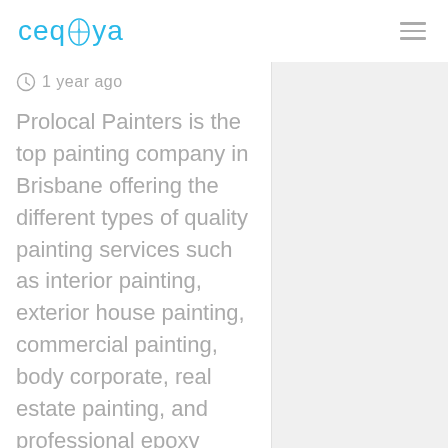ceqoya
1 year ago
Prolocal Painters is the top painting company in Brisbane offering the different types of quality painting services such as interior painting, exterior house painting, commercial painting, body corporate, real estate painting, and professional epoxy